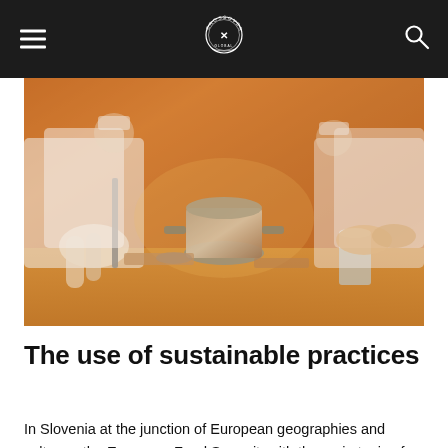CROSSOVER [logo]
[Figure (photo): Chefs working in a kitchen, hands visible over cooking pots and utensils on a wooden table, warm orange-toned lighting]
The use of sustainable practices
In Slovenia at the junction of European geographies and cultures, the European Food Summit, with the main topic of the conference “Food – The bridge toward the sustainable identities of European cultures and nations”, featured an extraordinary programme full of inspiring stories from the culinary world and contributes to the shaping of a